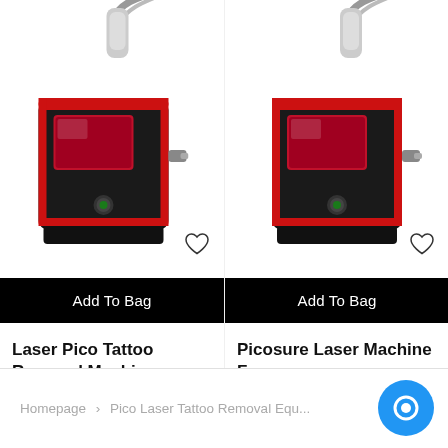[Figure (photo): Laser Pico tattoo removal machine — black and red device with hose attachment, partially cropped at top]
[Figure (photo): Picosure laser machine for clinic — black and red device with hose attachment, partially cropped at top]
Add To Bag
Add To Bag
Laser Pico Tattoo Removal Machine
$3,000.00
Picosure Laser Machine Fo... Clinic
$3,000.00
Homepage > Pico Laser Tattoo Removal Equ...